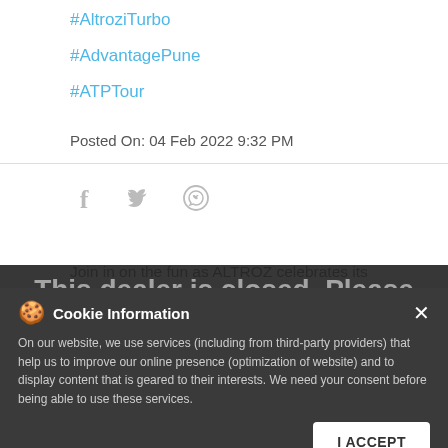#AltroziTurbo
#AdvantagePune
#ATPTour
Posted On: 04 Feb 2022 9:32 PM
[Figure (infographic): Social share icons: Facebook, Twitter, WhatsApp]
Join in on the fun as ALTROZ celebrates its 2nd anniversary! Pose with your ALTROZ, holding up the '✌' sign. Tag us along
This dealer is closed. Please check out the Nearby Dealers below
#2YearsOfALTROZ
#2ndAnniversary
Cookie Information
On our website, we use services (including from third-party providers) that help us to improve our online presence (optimization of website) and to display content that is geared to their interests. We need your consent before being able to use these services.
I ACCEPT